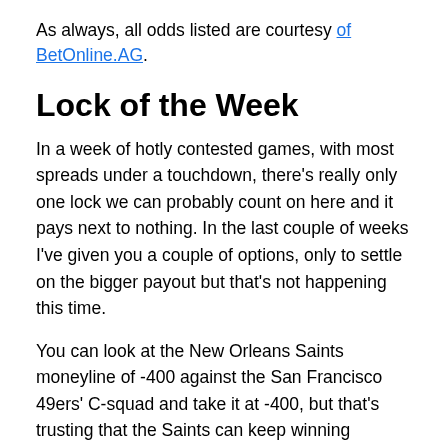As always, all odds listed are courtesy of BetOnline.AG.
Lock of the Week
In a week of hotly contested games, with most spreads under a touchdown, there's really only one lock we can probably count on here and it pays next to nothing. In the last couple of weeks I've given you a couple of options, only to settle on the bigger payout but that's not happening this time.
You can look at the New Orleans Saints moneyline of -400 against the San Francisco 49ers' C-squad and take it at -400, but that's trusting that the Saints can keep winning